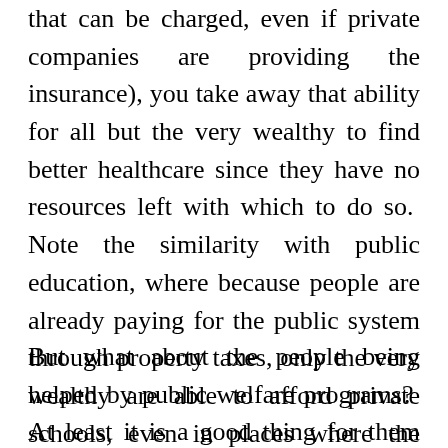that can be charged, even if private companies are providing the insurance), you take away that ability for all but the very wealthy to find better healthcare since they have no resources left with which to do so.  Note the similarity with public education, where because people are already paying for the public system through property taxes, only the very wealthy are able to afford private schools, even in places where the private schools are far superior.
But what about the people being helped by public welfare programs?  At least it is a good thing for them right? Not always. Think about